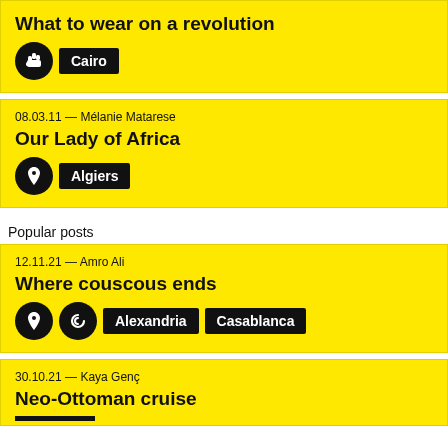What to wear on a revolution
Cairo
08.03.11 — Mélanie Matarese
Our Lady of Africa
Algiers
Popular posts
12.11.21 — Amro Ali
Where couscous ends
Alexandria  Casablanca
30.10.21 — Kaya Genç
Neo-Ottoman cruise